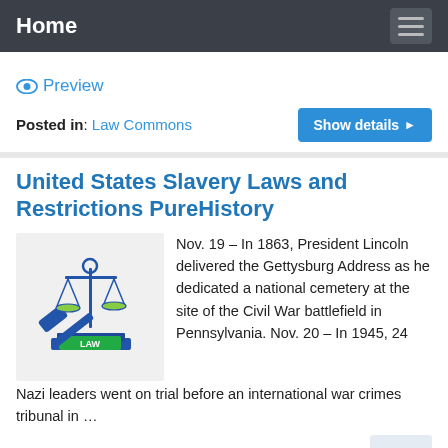Home
Preview
Posted in: Law Commons
United States Slavery Laws and Restrictions PureHistory
[Figure (illustration): Legal illustration showing scales of justice and a gavel with books labeled LAW]
Nov. 19 – In 1863, President Lincoln delivered the Gettysburg Address as he dedicated a national cemetery at the site of the Civil War battlefield in Pennsylvania. Nov. 20 – In 1945, 24 Nazi leaders went on trial before an international war crimes tribunal in …
Preview